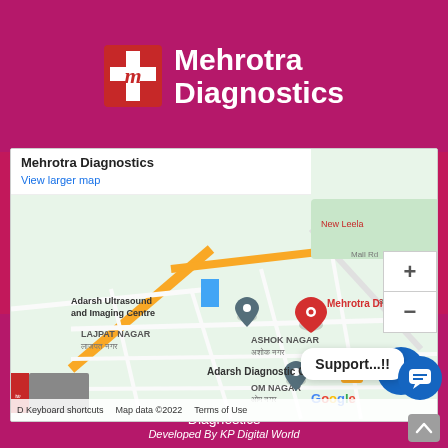[Figure (logo): Mehrotra Diagnostics logo with red cross and script M icon, white text on pink/magenta background]
[Figure (map): Google Maps screenshot showing Mehrotra Diagnostics location on 80 Feet Rd, Ashok Nagar area, with nearby landmarks: Adarsh Ultrasound and Imaging Centre, Adarsh Diagnostic Centre, Lajpat Nagar, Om Nagar. Red pin on Mehrotra Diagnostics.]
Mehrotra Diagnostics
View larger map
Copyright © 2021 All Rights Reserved By Mehrotra Diagnostics
Developed By KP Digital World
Support...!!